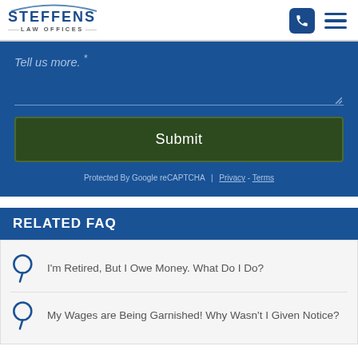[Figure (logo): Steffens Law Offices logo with arc above text and phone/hamburger icons]
Tell us more. *
Submit
Protected By Google reCAPTCHA | Privacy - Terms
RELATED FAQ
I'm Retired, But I Owe Money. What Do I Do?
My Wages are Being Garnished! Why Wasn't I Given Notice?